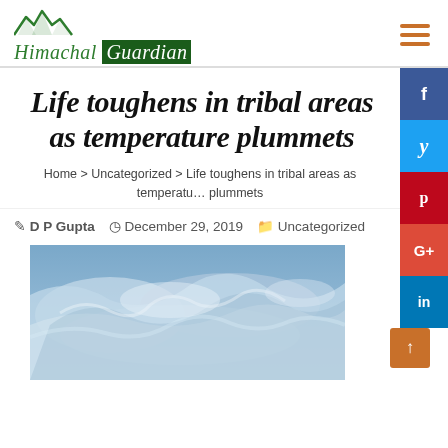Himachal Guardian
Life toughens in tribal areas as temperature plummets
Home > Uncategorized > Life toughens in tribal areas as temperature plummets
D P Gupta   December 29, 2019   Uncategorized
[Figure (photo): Aerial or satellite view of snow-covered mountainous terrain, shades of blue, grey and white]